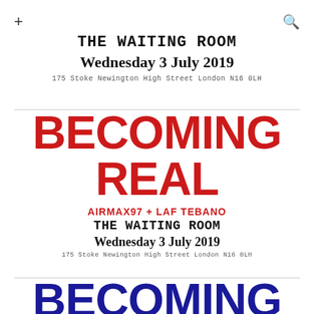+ [search icon]
THE WAITING ROOM
Wednesday 3 July 2019
175 Stoke Newington High Street London N16 0LH
BECOMING REAL
AIRMAX97 + LAF TEBANO
THE WAITING ROOM
Wednesday 3 July 2019
175 Stoke Newington High Street London N16 0LH
BECOMING